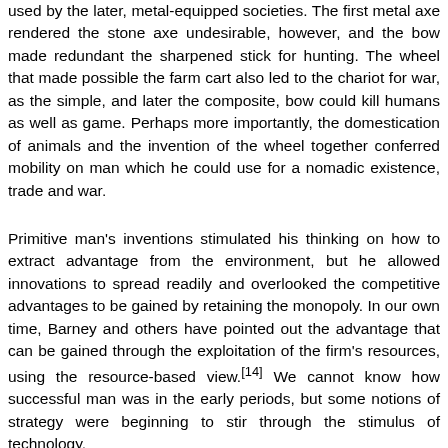used by the later, metal-equipped societies. The first metal axe rendered the stone axe undesirable, however, and the bow made redundant the sharpened stick for hunting. The wheel that made possible the farm cart also led to the chariot for war, as the simple, and later the composite, bow could kill humans as well as game. Perhaps more importantly, the domestication of animals and the invention of the wheel together conferred mobility on man which he could use for a nomadic existence, trade and war.
Primitive man's inventions stimulated his thinking on how to extract advantage from the environment, but he allowed innovations to spread readily and overlooked the competitive advantages to be gained by retaining the monopoly. In our own time, Barney and others have pointed out the advantage that can be gained through the exploitation of the firm's resources, using the resource-based view.[14] We cannot know how successful man was in the early periods, but some notions of strategy were beginning to stir through the stimulus of technology.